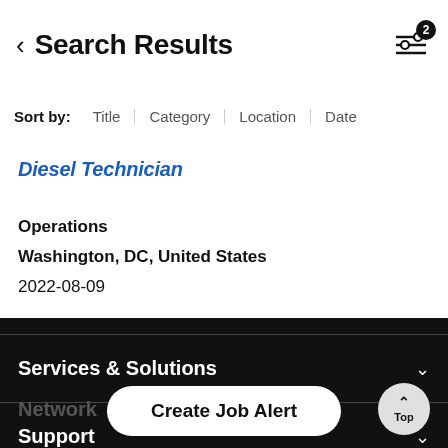< Search Results
Sort by: Title | Category | Location | Date
Diesel Technician
Operations
Washington, DC, United States
2022-08-09
Services & Solutions
Support
Network
Create Job Alert